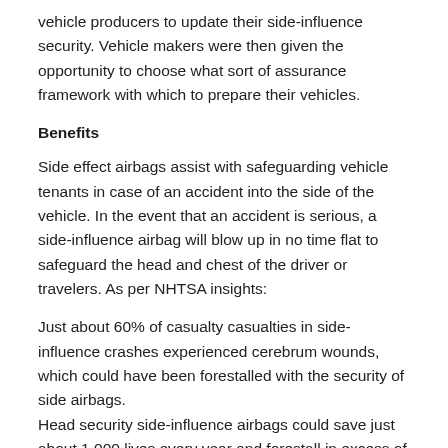vehicle producers to update their side-influence security. Vehicle makers were then given the opportunity to choose what sort of assurance framework with which to prepare their vehicles.
Benefits
Side effect airbags assist with safeguarding vehicle tenants in case of an accident into the side of the vehicle. In the event that an accident is serious, a side-influence airbag will blow up in no time flat to safeguard the head and chest of the driver or travelers. As per NHTSA insights:
Just about 60% of casualty casualties in side-influence crashes experienced cerebrum wounds, which could have been forestalled with the security of side airbags.
Head security side-influence airbags could save just about 1,000 lives every year and forestall in excess of 900 genuine wounds.